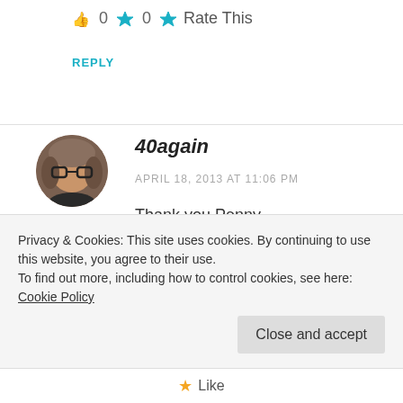0  0  Rate This
REPLY
40again
APRIL 18, 2013 AT 11:06 PM
Thank you Penny
They have a lot to resolve, I
Privacy & Cookies: This site uses cookies. By continuing to use this website, you agree to their use.
To find out more, including how to control cookies, see here: Cookie Policy
Close and accept
Like